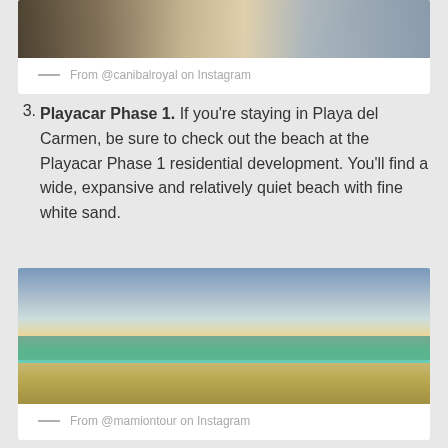[Figure (photo): Partial photo of a beach/restaurant scene, cropped at top]
— From @canibalroyal on Instagram
3. Playacar Phase 1. If you're staying in Playa del Carmen, be sure to check out the beach at the Playacar Phase 1 residential development. You'll find a wide, expansive and relatively quiet beach with fine white sand.
[Figure (photo): Sunset beach photo showing golden sky, turquoise water, and white sand at Playacar Phase 1]
— From @mamiontour on Instagram